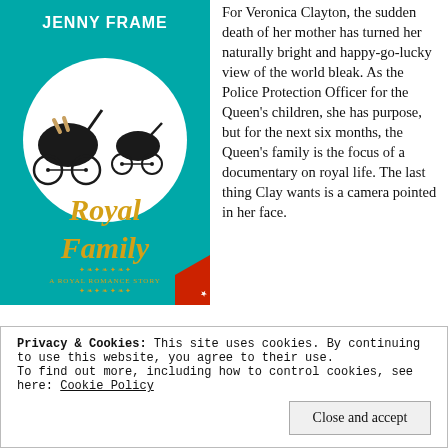[Figure (illustration): Book cover of 'Royal Family: A Royal Romance Story' by Jenny Frame. Teal/turquoise background with an image of old-fashioned baby prams/carriages in a white circle. The title 'Royal Family' is written in ornate golden lettering, with subtitle 'A Royal Romance Story' below in smaller text. Author name 'Jenny Frame' at the top in white.]
For Veronica Clayton, the sudden death of her mother has turned her naturally bright and happy-go-lucky view of the world bleak. As the Police Protection Officer for the Queen's children, she has purpose, but for the next six months, the Queen's family is the focus of a documentary on royal life. The last thing Clay wants is a camera pointed in her face.
Privacy & Cookies: This site uses cookies. By continuing to use this website, you agree to their use. To find out more, including how to control cookies, see here: Cookie Policy
Close and accept